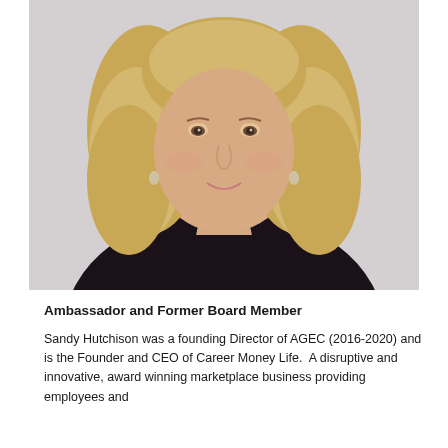[Figure (photo): Professional headshot of a blonde woman wearing a dark floral blouse, smiling, against a light grey background]
Ambassador and Former Board Member
Sandy Hutchison was a founding Director of AGEC (2016-2020) and is the Founder and CEO of Career Money Life.  A disruptive and innovative, award winning marketplace business providing employees and